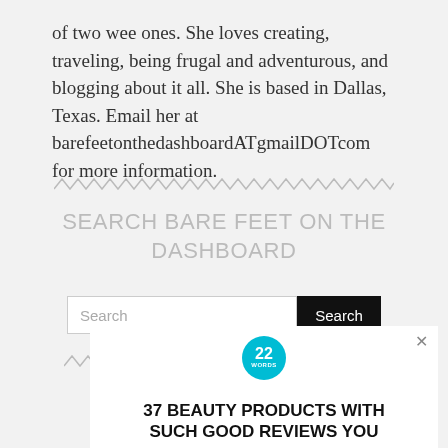of two wee ones. She loves creating, traveling, being frugal and adventurous, and blogging about it all. She is based in Dallas, Texas. Email her at barefeetonthedashboardATgmailDOTcom for more information.
[Figure (other): Decorative zigzag/wavy line divider]
SEARCH BARE FEET ON THE DASHBOARD
[Figure (other): Search bar with text input and Search button]
[Figure (other): Decorative zigzag/wavy line divider]
[Figure (other): Advertisement box with 22 Words logo and headline '37 BEAUTY PRODUCTS WITH SUCH GOOD REVIEWS YOU']